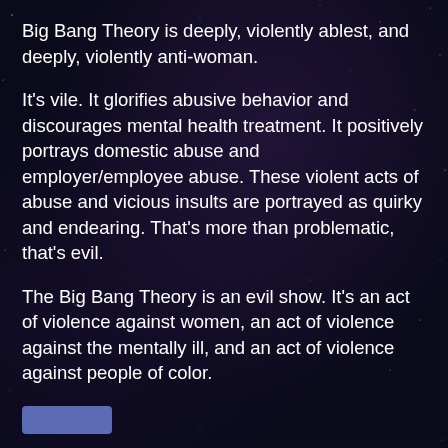Big Bang Theory is deeply, violently ablest, and deeply, violently anti-woman.
It's vile. It glorifies abusive behavior and discourages mental health treatment. It positively portrays domestic abuse and employer/employee abuse. These violent acts of abuse and vicious insults are portrayed as quirky and endearing. That's more than problematic, that's evil.
The Big Bang Theory is an evil show. It's an act of violence against women, an act of violence against the mentally ill, and an act of violence against people of color.